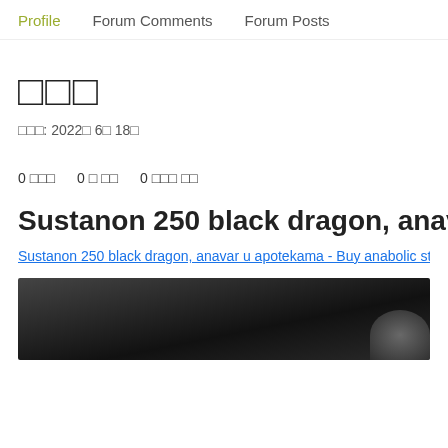Profile   Forum Comments   Forum Posts
□□□
□□□: 2022□ 6□ 18□
0 □□□   0 □ □□   0 □□□ □□
Sustanon 250 black dragon, anavar u ap
Sustanon 250 black dragon, anavar u apotekama - Buy anabolic ster
[Figure (photo): Dark blurry image preview with a faint silhouette shape visible in bottom right]